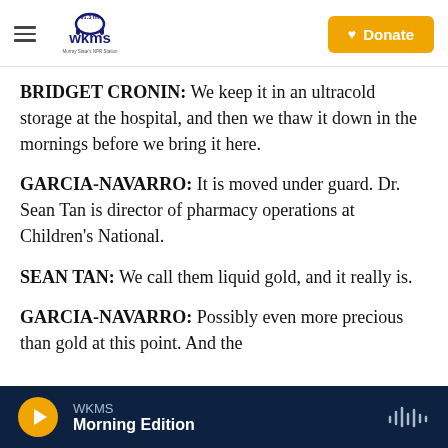WKMS 91.3 fm – Murray State's NPR Station | Donate
BRIDGET CRONIN: We keep it in an ultracold storage at the hospital, and then we thaw it down in the mornings before we bring it here.
GARCIA-NAVARRO: It is moved under guard. Dr. Sean Tan is director of pharmacy operations at Children's National.
SEAN TAN: We call them liquid gold, and it really is.
GARCIA-NAVARRO: Possibly even more precious than gold at this point. And the
WKMS | Morning Edition